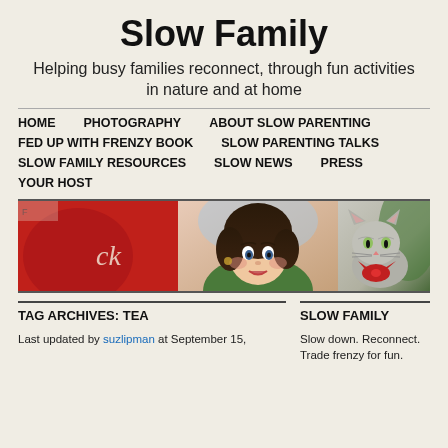Slow Family
Helping busy families reconnect, through fun activities in nature and at home
HOME
PHOTOGRAPHY
ABOUT SLOW PARENTING
FED UP WITH FRENZY BOOK
SLOW PARENTING TALKS
SLOW FAMILY RESOURCES
SLOW NEWS
PRESS
YOUR HOST
[Figure (photo): Website banner with vintage-style illustrations: red background with text on left, girl portrait in center, cat with red bow on right]
TAG ARCHIVES: TEA
Last updated by suzlipman at September 15,
SLOW FAMILY
Slow down. Reconnect. Trade frenzy for fun.